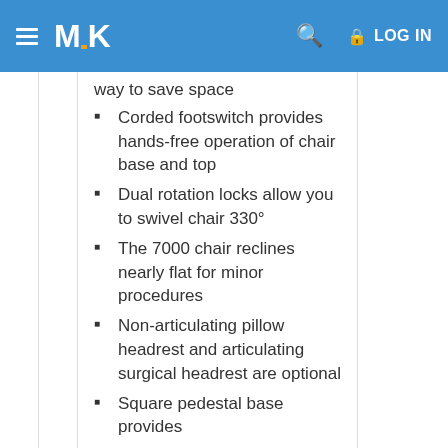MCK — LOG IN
way to save space
Corded footswitch provides hands-free operation of chair base and top
Dual rotation locks allow you to swivel chair 330°
The 7000 chair reclines nearly flat for minor procedures
Non-articulating pillow headrest and articulating surgical headrest are optional
Square pedestal base provides